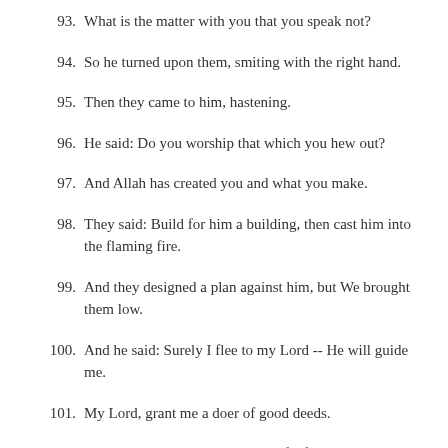93. What is the matter with you that you speak not?
94. So he turned upon them, smiting with the right hand.
95. Then they came to him, hastening.
96. He said: Do you worship that which you hew out?
97. And Allah has created you and what you make.
98. They said: Build for him a building, then cast him into the flaming fire.
99. And they designed a plan against him, but We brought them low.
100. And he said: Surely I flee to my Lord -- He will guide me.
101. My Lord, grant me a doer of good deeds.
102. So We gave him the good news of a forbearing son.